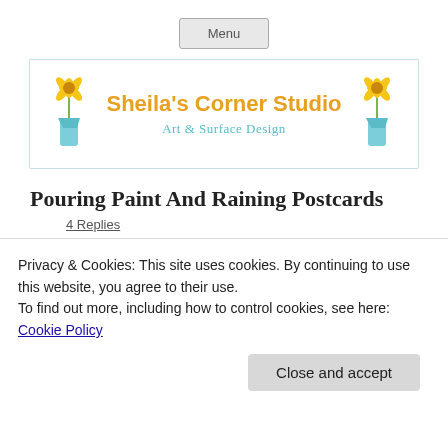Menu
[Figure (logo): Sheila's Corner Studio logo with sunflowers in blue vases on either side and text reading 'Sheila's Corner Studio' in orange and 'Art & Surface Design' in teal/blue]
Pouring Paint And Raining Postcards
4 Replies
Privacy & Cookies: This site uses cookies. By continuing to use this website, you agree to their use.
To find out more, including how to control cookies, see here: Cookie Policy
Close and accept